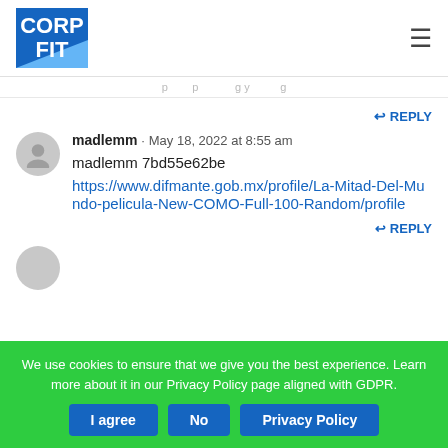[Figure (logo): CorpFit logo — blue square with white bold text CORP FIT and a light blue diagonal stripe in the lower right corner]
CorpFit site header with logo and hamburger menu
(faded navigation breadcrumb text)
↩ REPLY
madlemm · May 18, 2022 at 8:55 am
madlemm 7bd55e62be
https://www.difmante.gob.mx/profile/La-Mitad-Del-Mundo-pelicula-New-COMO-Full-100-Random/profile
↩ REPLY
We use cookies to ensure that we give you the best experience. Learn more about it in our Privacy Policy page aligned with GDPR.